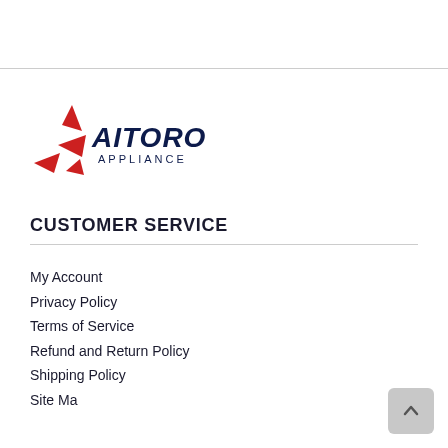[Figure (logo): Aitoro Appliance logo — red arrow/star graphic with dark navy bold italic text 'AITORO APPLIANCE']
CUSTOMER SERVICE
My Account
Privacy Policy
Terms of Service
Refund and Return Policy
Shipping Policy
Site Map